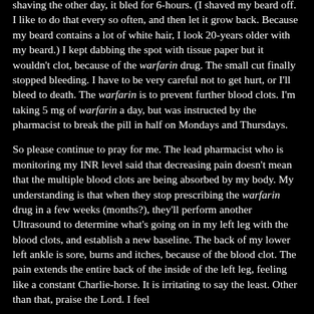shaving the other day, it bled for 6-hours. (I shaved my beard off. I like to do that every so often, and then let it grow back. Because my beard contains a lot of white hair, I look 20-years older with my beard.) I kept dabbing the spot with tissue paper but it wouldn't clot, because of the warfarin drug. The small cut finally stopped bleeding. I have to be very careful not to get hurt, or I'll bleed to death. The warfarin is to prevent further blood clots. I'm taking 5 mg of warfarin a day, but was instructed by the pharmacist to break the pill in half on Mondays and Thursdays.
So please continue to pray for me. The lead pharmacist who is monitoring my INR level said that decreasing pain doesn't mean that the multiple blood clots are being absorbed by my body. My understanding is that when they stop prescribing the warfarin drug in a few weeks (months?), they'll perform another Ultrasound to determine what's going on in my left leg with the blood clots, and establish a new baseline. The back of my lower left ankle is sore, burns and itches, because of the blood clot. The pain extends the entire back of the inside of the left leg, feeling like a constant Charlie-horse. It is irritating to say the least. Other than that, praise the Lord. I feel